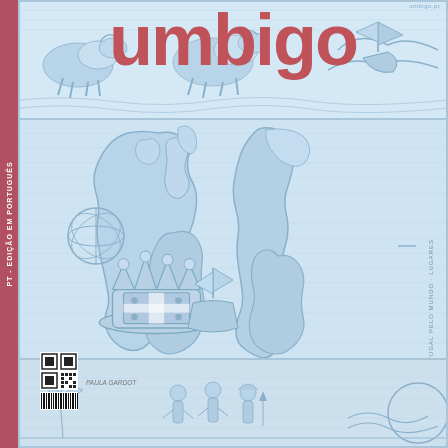umbigo
PT - EDIÇÃO EM PORTUGUÊS
[Figure (illustration): Magazine cover of 'Umbigo' featuring a blue-toned historical illustration. The cover shows a world map with Portuguese coat of arms and historical sailing ships. Top strip shows galloping horses/figures, middle section shows a world map with heraldic imagery, bottom strip shows figures and coastal scenes. The overall color palette is light blue on white, printed in a woodcut/engraving style.]
umbigo.pt